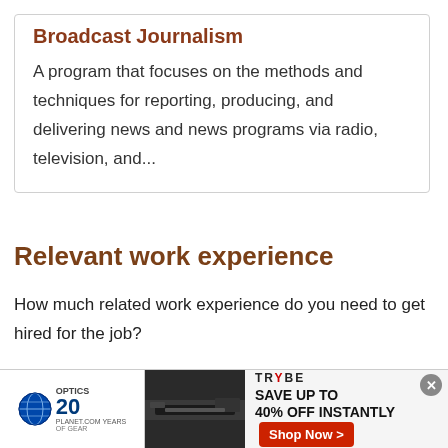Broadcast Journalism
A program that focuses on the methods and techniques for reporting, producing, and delivering news and news programs via radio, television, and...
Relevant work experience
How much related work experience do you need to get hired for the job?
None
[Figure (other): Advertisement banner for Optics Planet and Trybe Gear with 'Save up to 40% off instantly' and 'Shop Now' button]